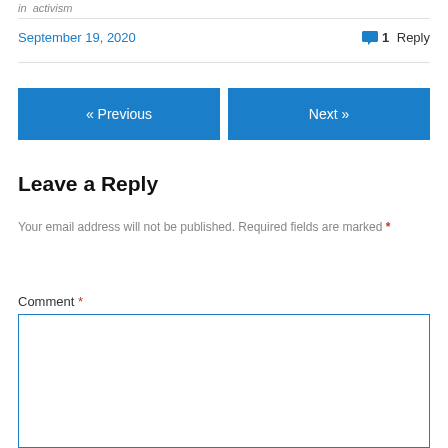in  activism
September 19, 2020    1 Reply
« Previous
Next »
Leave a Reply
Your email address will not be published. Required fields are marked *
Comment *